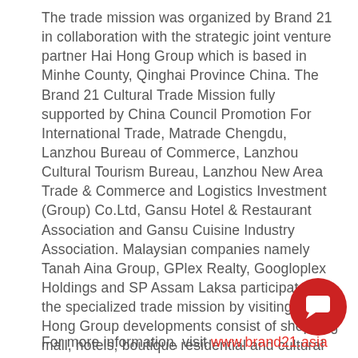The trade mission was organized by Brand 21 in collaboration with the strategic joint venture partner Hai Hong Group which is based in Minhe County, Qinghai Province China. The Brand 21 Cultural Trade Mission fully supported by China Council Promotion For International Trade, Matrade Chengdu, Lanzhou Bureau of Commerce, Lanzhou Cultural Tourism Bureau, Lanzhou New Area Trade & Commerce and Logistics Investment (Group) Co.Ltd, Gansu Hotel & Restaurant Association and Gansu Cuisine Industry Association. Malaysian companies namely Tanah Aina Group, GPlex Realty, Googloplex Holdings and SP Assam Laksa participated in the specialized trade mission by visiting Hai Hong Group developments consist of shopping mall, hotels, boutique residential and cultural street. The entire trade mission is fully hosted by Hai Hong Group and Brand 21.
For more information, visit www.brand21.asia